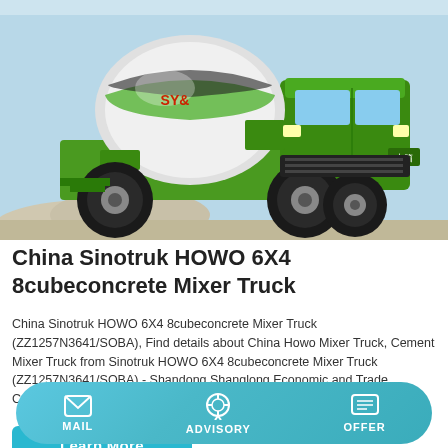[Figure (photo): Green and white Sinotruk HOWO concrete mixer truck photographed outdoors against a light background with gravel/aggregate piles visible.]
China Sinotruk HOWO 6X4 8cubeconcrete Mixer Truck
China Sinotruk HOWO 6X4 8cubeconcrete Mixer Truck (ZZ1257N3641/SOBA), Find details about China Howo Mixer Truck, Cement Mixer Truck from Sinotruk HOWO 6X4 8cubeconcrete Mixer Truck (ZZ1257N3641/SOBA) - Shandong Shanglong Economic and Trade Corporation Ltd.
Learn More
MAIL  ADVISORY  OFFER